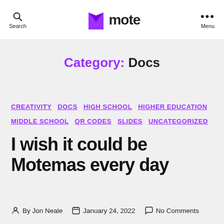Search | mote | Menu
Category: Docs
CREATIVITY
DOCS
HIGH SCHOOL
HIGHER EDUCATION
MIDDLE SCHOOL
QR CODES
SLIDES
UNCATEGORIZED
I wish it could be Motemas every day
By Jon Neale   January 24, 2022   No Comments